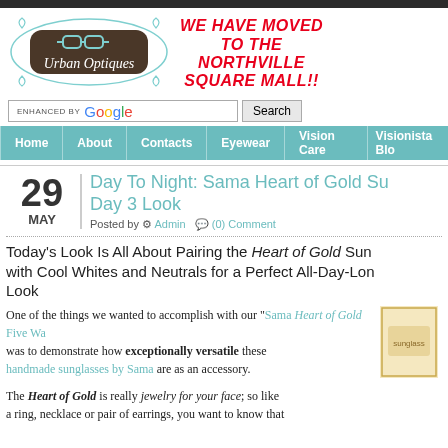[Figure (logo): Urban Optiques logo with decorative brown frame and teal glasses icon]
WE HAVE MOVED TO THE NORTHVILLE SQUARE MALL!!
ENHANCED BY Google   Search
Home | About | Contacts | Eyewear | Vision Care | Visionista Blog
Day To Night: Sama Heart of Gold Su... Day 3 Look
Posted by Admin (0) Comment
Today's Look Is All About Pairing the Heart of Gold Sun... with Cool Whites and Neutrals for a Perfect All-Day-Lon... Look
One of the things we wanted to accomplish with our "Sama Heart of Gold Five Wa... was to demonstrate how exceptionally versatile these handmade sunglasses by Sama are as an accessory.
The Heart of Gold is really jewelry for your face; so like a ring, necklace or pair of earrings, you want to know that